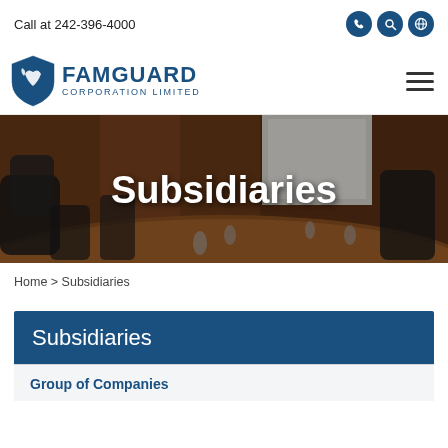Call at 242-396-4000
[Figure (logo): FamGuard Corporation Limited logo with shield icon and company name]
[Figure (photo): Boardroom photo showing a conference table with chairs, water glasses, and a projector screen in the background. Overlaid with large white text 'Subsidiaries'.]
Home > Subsidiaries
Subsidiaries
Group of Companies